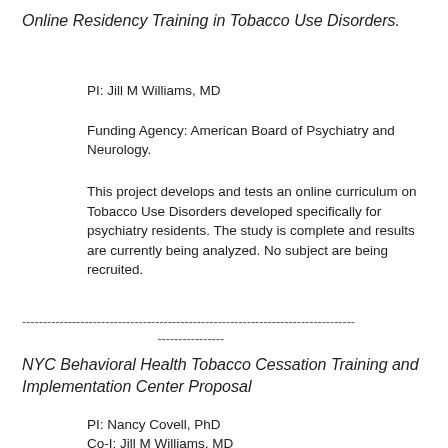Online Residency Training in Tobacco Use Disorders.
PI: Jill M Williams, MD
Funding Agency: American Board of Psychiatry and Neurology.
This project develops and tests an online curriculum on Tobacco Use Disorders developed specifically for psychiatry residents. The study is complete and results are currently being analyzed.  No subject are being recruited.
--------------------------------------------------------------------------------
----------------
NYC Behavioral Health Tobacco Cessation Training and Implementation Center Proposal
PI:  Nancy Covell, PhD
Co-I:  Jill M Williams, MD